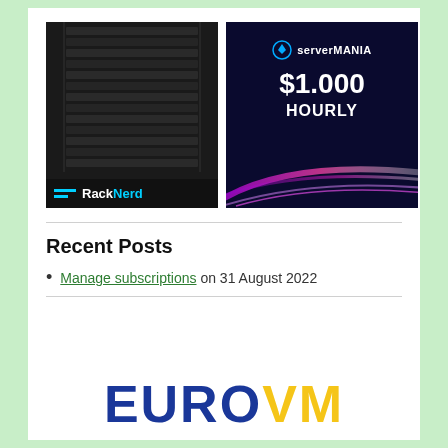[Figure (logo): RackNerd advertisement banner with dark server rack background and RackNerd logo at the bottom in white and cyan]
[Figure (logo): ServerMania advertisement banner with dark blue background, ServerMania logo, $1.000 HOURLY pricing text, and colorful light streak graphic]
Recent Posts
Manage subscriptions on 31 August 2022
[Figure (logo): EuroVM logo in large bold text with EURO in dark blue and VM in yellow/gold]